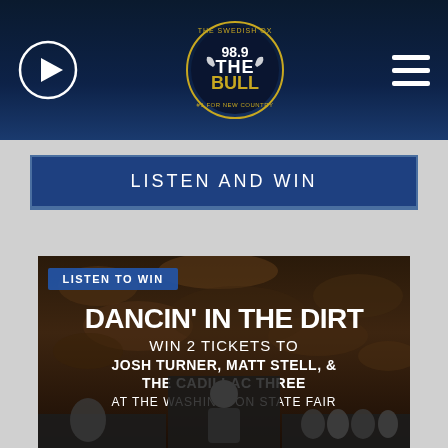[Figure (screenshot): Radio station 98.9 The Bull navigation header bar with play button on left, circular station logo in center, and hamburger menu on right, dark navy blue background]
LISTEN AND WIN
[Figure (photo): Listen to Win promotional image - Dancin' in the Dirt contest. White bold text reads: LISTEN TO WIN, DANCIN' IN THE DIRT, WIN 2 TICKETS TO JOSH TURNER, MATT STELL, & THE CADILLAC THREE AT THE WASHINGTON STATE FAIR. Background shows dark soil/dirt texture. Foreground shows partial photos of performers including a man seated in a chair center, a person with cap lower left, and group of people lower right.]